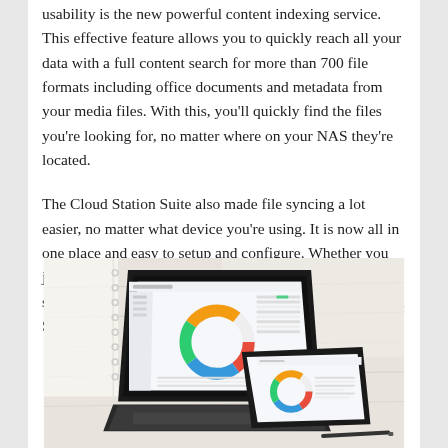usability is the new powerful content indexing service. This effective feature allows you to quickly reach all your data with a full content search for more than 700 file formats including office documents and metadata from your media files. With this, you'll quickly find the files you're looking for, no matter where on your NAS they're located.
The Cloud Station Suite also made file syncing a lot easier, no matter what device you're using. It is now all in one place and easy to setup and configure. Whether you just want to use it for backups to your personal cloud or sync it with a host of cloud storage services too, the Cloud Station Suite makes it easy.
[Figure (photo): Photo of a laptop and tablet on a white wooden desk, both displaying dashboard/analytics screens with donut charts and data tables.]